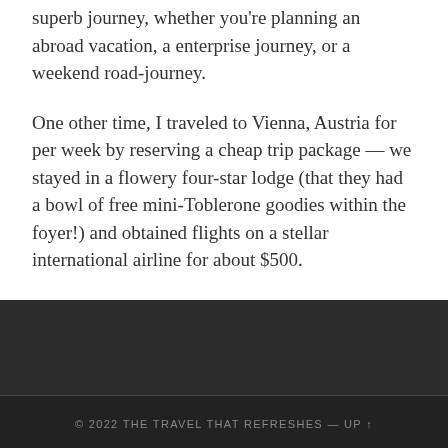superb journey, whether you're planning an abroad vacation, a enterprise journey, or a weekend road-journey.
One other time, I traveled to Vienna, Austria for per week by reserving a cheap trip package — we stayed in a flowery four-star lodge (that they had a bowl of free mini-Toblerone goodies within the foyer!) and obtained flights on a stellar international airline for about $500.
...
© 2022 THE TRAVEL THAT REFRESHES — UP ↑